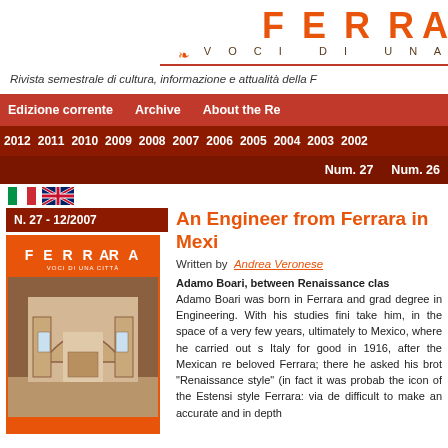[Figure (logo): FERRARA magazine logo in orange block letters with decorative reversed R, subtitle VOCI DI UNA in spaced caps, and ornamental divider line]
Rivista semestrale di cultura, informazione e attualità della F
Edizione corrente   Archive   About the Re
2012 2011 2010 2009 2008 2007 2006 2005 2004 2003 2002
Num. 27  Num. 26
[Figure (illustration): Italian flag icon]
[Figure (illustration): UK flag icon]
N. 27 - 12/2007
[Figure (photo): Cover of FERRARA magazine issue 27, showing interior of a Renaissance church with arches and altars, orange background]
An Engineer from Ferrara in Mexi
Written by  Andrea Veronese
Adamo Boari, between Renaissance clas Adamo Boari was born in Ferrara and grad degree in Engineering. With his studies fini take him, in the space of a very few years ultimately to Mexico, where he carried out s Italy for good in 1916, after the Mexican re beloved Ferrara; there he asked his brot "Renaissance style" (in fact it was probab the icon of the Estensi style Ferrara: via de difficult to make an accurate and in depth